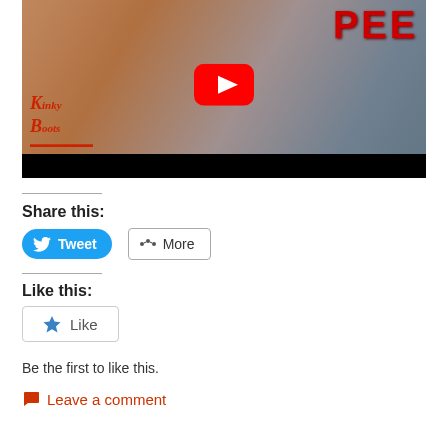[Figure (screenshot): YouTube video thumbnail for Kinky Boots musical. Shows a woman in a floral orange/red outfit smiling, with a YouTube play button overlay. 'PEE' text in red glitter letters on right side. Kinky Boots logo in red italic script on lower left. Black bar at bottom.]
Share this:
[Figure (other): Twitter Tweet button (blue rounded rectangle with bird icon and 'Tweet' text) and More button (white rectangle with share icon and 'More' text)]
Like this:
[Figure (other): Like button with blue star icon and 'Like' text inside a bordered box]
Be the first to like this.
Leave a comment